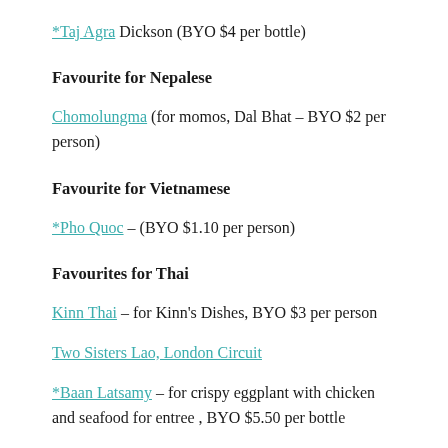*Taj Agra Dickson (BYO $4 per bottle)
Favourite for Nepalese
Chomolungma (for momos, Dal Bhat – BYO $2 per person)
Favourite for Vietnamese
*Pho Quoc – (BYO $1.10 per person)
Favourites for Thai
Kinn Thai – for Kinn's Dishes, BYO $3 per person
Two Sisters Lao, London Circuit
*Baan Latsamy – for crispy eggplant with chicken and seafood for entree , BYO $5.50 per bottle